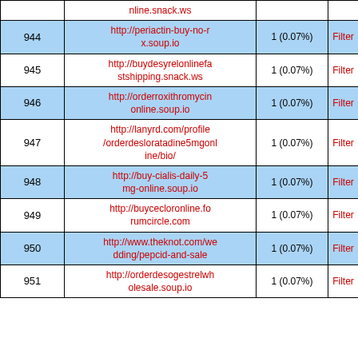| # | URL | Count | Action |
| --- | --- | --- | --- |
|  | nline.snack.ws |  |  |
| 944 | http://periactin-buy-no-rx.soup.io | 1 (0.07%) | Filter |
| 945 | http://buydesyrelonlinefastshipping.snack.ws | 1 (0.07%) | Filter |
| 946 | http://orderroxithromycinonline.soup.io | 1 (0.07%) | Filter |
| 947 | http://lanyrd.com/profile/orderdesloratadine5mgonline/bio/ | 1 (0.07%) | Filter |
| 948 | http://buy-cialis-daily-5mg-online.soup.io | 1 (0.07%) | Filter |
| 949 | http://buycecloronline.forumcircle.com | 1 (0.07%) | Filter |
| 950 | http://www.theknot.com/wedding/pepcid-and-sale | 1 (0.07%) | Filter |
| 951 | http://orderdesogestrelwholesale.soup.io | 1 (0.07%) | Filter |